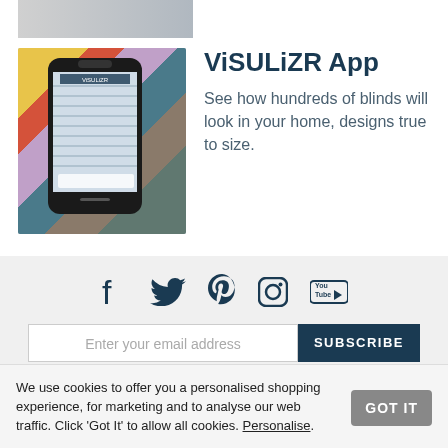[Figure (photo): Partial top strip image showing a person's arm/hand, cropped]
[Figure (photo): Phone showing ViSULiZR app held by hand, surrounded by fabric/blind samples]
ViSULiZR App
See how hundreds of blinds will look in your home, designs true to size.
[Figure (other): Social media icons: Facebook, Twitter, Pinterest, Instagram, YouTube]
Enter your email address
SUBSCRIBE
We use cookies to offer you a personalised shopping experience, for marketing and to analyse our web traffic. Click 'Got It' to allow all cookies. Personalise.
GOT IT